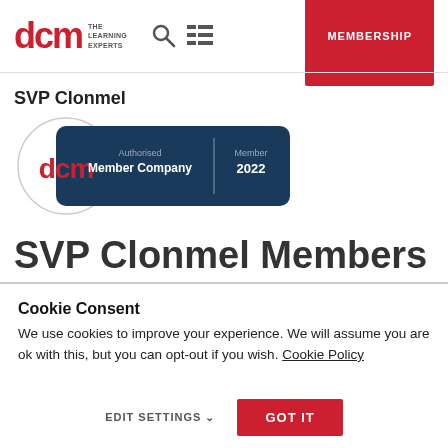dcm THE LEARNING EXPERTS | MEMBERSHIP
SVP Clonmel
[Figure (logo): DCM Authorised Member Company Member 2022 badge — circular DCM logo on left, dark navy rectangle on right with text 'Authorised Member Company | Member 2022']
SVP Clonmel Members
Cookie Consent
We use cookies to improve your experience. We will assume you are ok with this, but you can opt-out if you wish. Cookie Policy
EDIT SETTINGS ∨   GOT IT